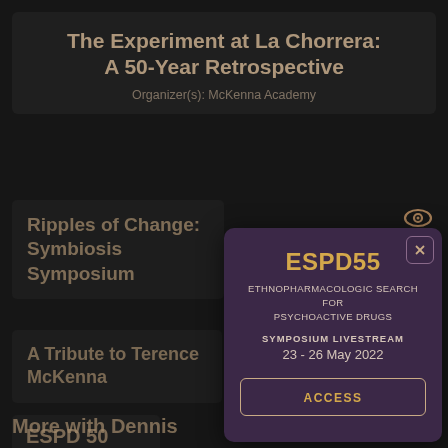The Experiment at La Chorrera: A 50-Year Retrospective
Organizer(s): McKenna Academy
Ripples of Change: Symbiosis Symposium
A Tribute to Terence McKenna
ESPD 50
[Figure (screenshot): Modal popup overlay showing ESPD55 symposium livestream details with ACCESS button]
More with Dennis